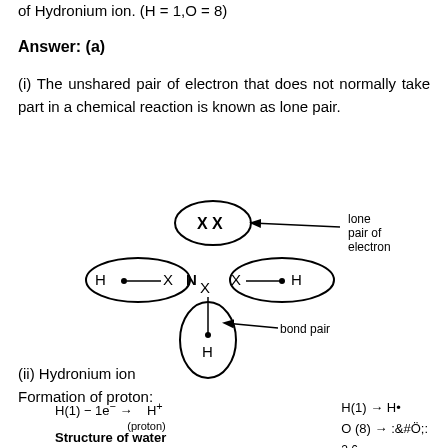of Hydronium ion. (H = 1,O = 8)
Answer: (a)
(i) The unshared pair of electron that does not normally take part in a chemical reaction is known as lone pair.
[Figure (illustration): Lewis dot structure of ammonia (NH3) molecule showing lone pair of electrons at top (marked XX) and three N-H bond pairs, with labels pointing to 'lone pair of electron' and 'bond pair'.]
(ii) Hydronium ion
Formation of proton:
Structure of water